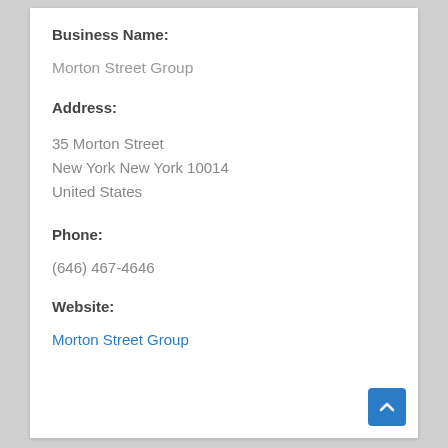Business Name:
Morton Street Group
Address:
35 Morton Street
New York New York 10014
United States
Phone:
(646) 467-4646
Website:
Morton Street Group